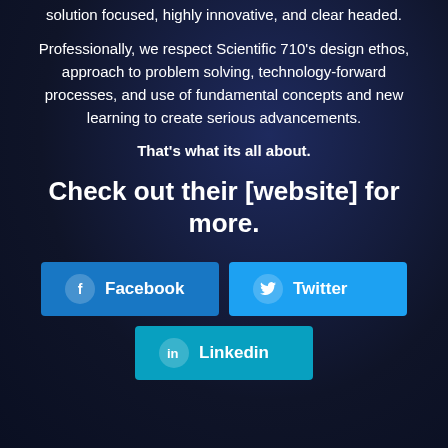solution focused, highly innovative, and clear headed.
Professionally, we respect Scientific 710's design ethos, approach to problem solving, technology-forward processes, and use of fundamental concepts and new learning to create serious advancements.
That's what its all about.
Check out their [website] for more.
Facebook
Twitter
Linkedin